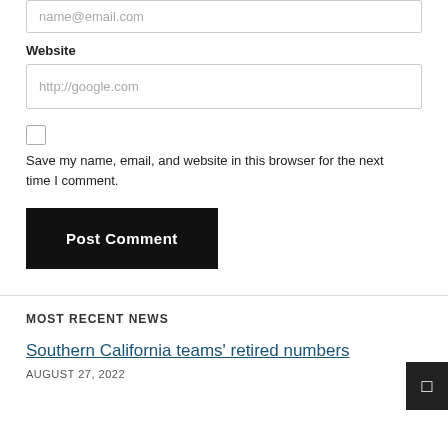name@email.com
Website
http://google.com
Save my name, email, and website in this browser for the next time I comment.
Post Comment
MOST RECENT NEWS
Southern California teams' retired numbers
AUGUST 27, 2022